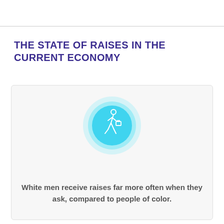THE STATE OF RAISES IN THE CURRENT ECONOMY
[Figure (illustration): A light blue glowing circle containing a white line-art icon of a person walking with a briefcase, centered inside a card/box element.]
White men receive raises far more often when they ask, compared to people of color.